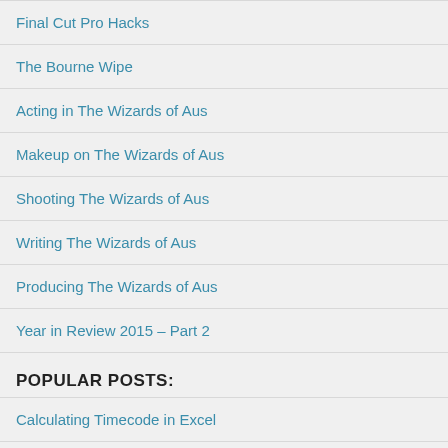Final Cut Pro Hacks
The Bourne Wipe
Acting in The Wizards of Aus
Makeup on The Wizards of Aus
Shooting The Wizards of Aus
Writing The Wizards of Aus
Producing The Wizards of Aus
Year in Review 2015 – Part 2
POPULAR POSTS:
Calculating Timecode in Excel